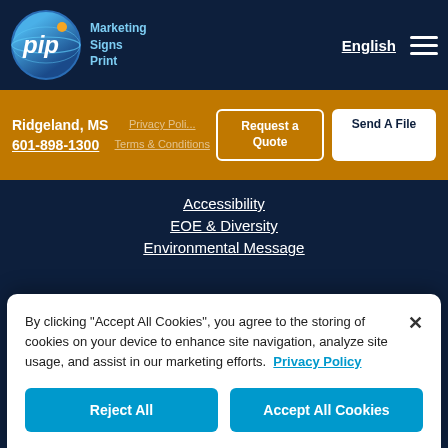[Figure (logo): PIP Marketing Signs Print circular logo with blue globe and orange dot]
English  ☰
Ridgeland, MS
601-898-1300
Privacy Policy
Terms & Conditions
Request a Quote
Send A File
Accessibility
EOE & Diversity
Environmental Message
By clicking "Accept All Cookies", you agree to the storing of cookies on your device to enhance site navigation, analyze site usage, and assist in our marketing efforts.  Privacy Policy
Reject All
Accept All Cookies